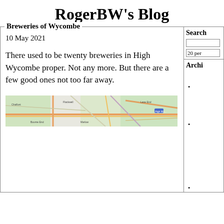RogerBW's Blog
Breweries of Wycombe
10 May 2021
There used to be twenty breweries in High Wycombe proper. Not any more. But there are a few good ones not too far away.
[Figure (map): Map of High Wycombe area showing roads and geography]
Search
20 per
Archi